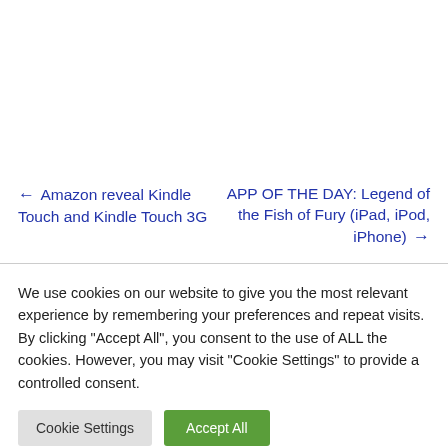← Amazon reveal Kindle Touch and Kindle Touch 3G
APP OF THE DAY: Legend of the Fish of Fury (iPad, iPod, iPhone) →
We use cookies on our website to give you the most relevant experience by remembering your preferences and repeat visits. By clicking "Accept All", you consent to the use of ALL the cookies. However, you may visit "Cookie Settings" to provide a controlled consent.